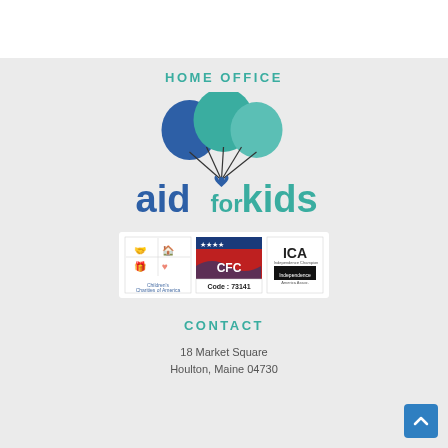HOME OFFICE
[Figure (logo): Aid for Kids logo with parachute balloon icon above the text 'aid for kids']
[Figure (infographic): Three certification badges: Children's Charities of America, CFC Code: 73141, and ICA (Independent Charities of America)]
CONTACT
18 Market Square
Houlton, Maine 04730